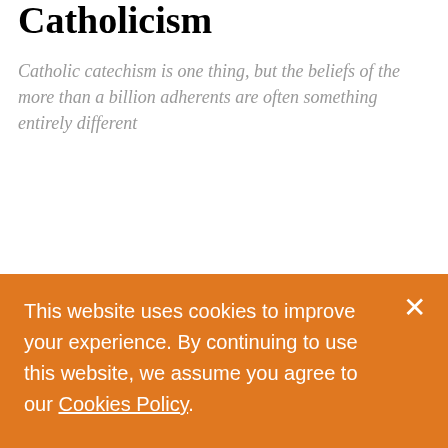Catholicism
Catholic catechism is one thing, but the beliefs of the more than a billion adherents are often something entirely different
ARTILLERY ROW  By Rev. Michael Coren
27 October, 2020
This website uses cookies to improve your experience. By continuing to use this website, we assume you agree to our Cookies Policy.